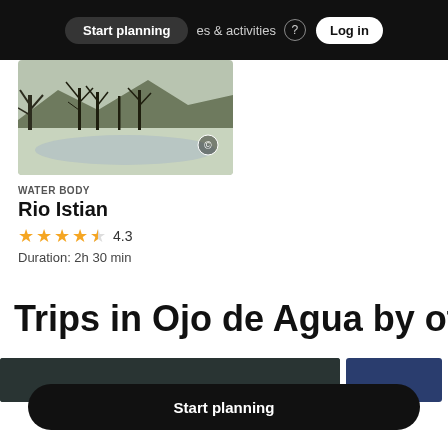Start planning   es & activities   Log in
[Figure (photo): Landscape photo of Rio Istian water body with bare trees and snow/water in foreground, mountains in background]
WATER BODY
Rio Istian
4.3
Duration: 2h 30 min
Trips in Ojo de Agua by othe
[Figure (photo): Bottom strip showing partial travel photos]
Start planning